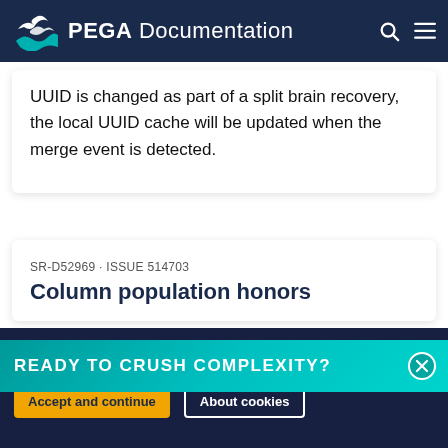PEGA Documentation
UUID is changed as part of a split brain recovery, the local UUID cache will be updated when the merge event is detected.
SR-D52969 · ISSUE 514703
Column population honors
READY TO CRUSH COMPLEXITY?
By using this site, you agree to the use of cookies. Read our Privacy Policy
Accept and continue   About cookies